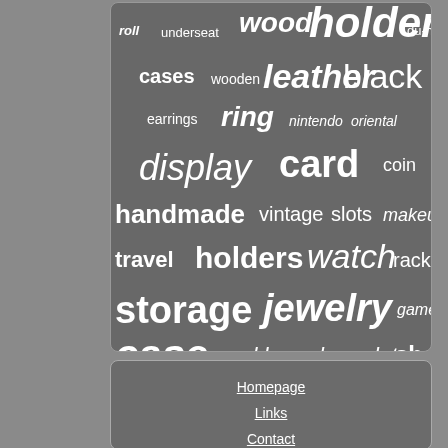[Figure (infographic): Word cloud with terms related to storage, jewelry, and display items on a gray background. Words include: holder, wood, roll, underseat, du-ha, cases, wooden, leather, black, earrings, ring, nintendo, oriental, display, card, coin, handmade, vintage, slots, makeup, travel, holders, watch, rack, storage, jewelry, game, case, necklace, bracelet, shelf, gift, large, organizer, graded]
Homepage
Links
Contact